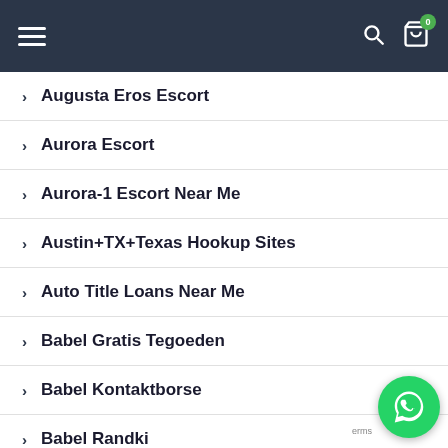Navigation header with hamburger menu, search icon, and cart icon (badge: 0)
Augusta Eros Escort
Aurora Escort
Aurora-1 Escort Near Me
Austin+TX+Texas Hookup Sites
Auto Title Loans Near Me
Babel Gratis Tegoeden
Babel Kontaktborse
Babel Randki
Babel Review